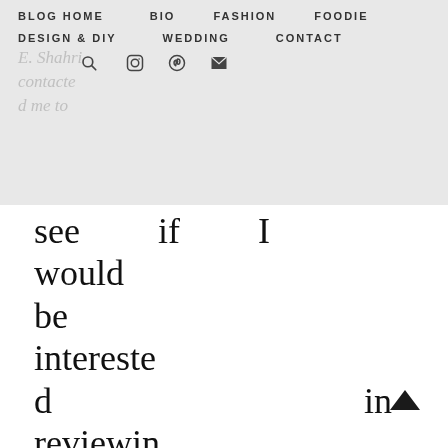BLOG HOME   BIO   FASHION   FOODIE   DESIGN & DIY   WEDDING   CONTACT
E. Shahri contacted me to see if I would be interested in reviewing a piece of my choice from their